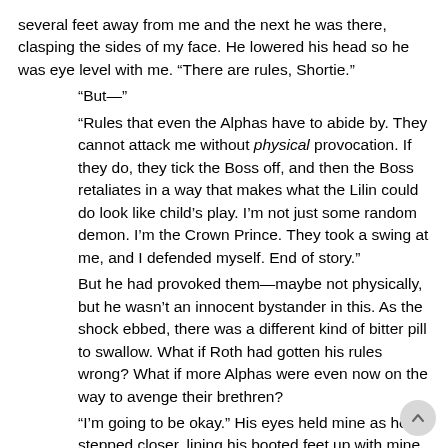several feet away from me and the next he was there, clasping the sides of my face. He lowered his head so he was eye level with me. “There are rules, Shortie.”
“But—”
“Rules that even the Alphas have to abide by. They cannot attack me without physical provocation. If they do, they tick the Boss off, and then the Boss retaliates in a way that makes what the Lilin could do look like child’s play. I’m not just some random demon. I’m the Crown Prince. They took a swing at me, and I defended myself. End of story.”
But he had provoked them—maybe not physically, but he wasn’t an innocent bystander in this. As the shock ebbed, there was a different kind of bitter pill to swallow. What if Roth had gotten his rules wrong? What if more Alphas were even now on the way to avenge their brethren?
“I’m going to be okay.” His eyes held mine as he stepped closer, lining his booted feet up with mine. “Nothing is going to happen to me. I promise.”
“You can’t make that promise,” I whispered, searching his gaze intently. “None of us can.”
His hands slid back and he curled his fingers in my loose hair. “I can.”
Those two words were like throwing down a gauntlet to the whole universe. I lowered my gaze as he dragged my hair back, tucking both